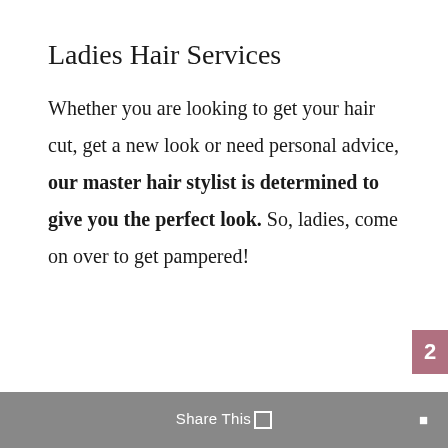Ladies Hair Services
Whether you are looking to get your hair cut, get a new look or need personal advice, our master hair stylist is determined to give you the perfect look. So, ladies, come on over to get pampered!
Share This